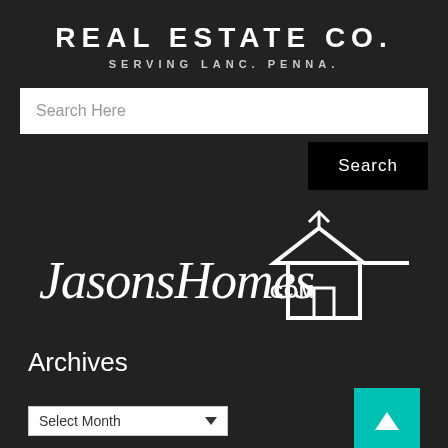REAL ESTATE CO.
SERVING LANC. PENNA.
Search Here
Search
[Figure (logo): JasonsHomes.com handwritten script logo with a house outline graphic in white on dark background]
Archives
Select Month